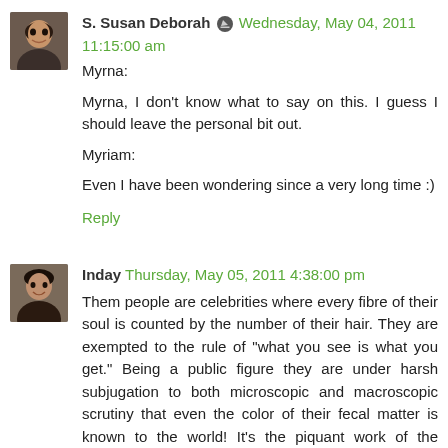[Figure (photo): Avatar photo of S. Susan Deborah - woman with dark hair]
S. Susan Deborah [edit icon] Wednesday, May 04, 2011 11:15:00 am
Myrna:

Myrna, I don't know what to say on this. I guess I should leave the personal bit out.

Myriam:

Even I have been wondering since a very long time :)
Reply
[Figure (photo): Avatar photo of Inday - woman with dark hair smiling]
Inday Thursday, May 05, 2011 4:38:00 pm
Them people are celebrities where every fibre of their soul is counted by the number of their hair. They are exempted to the rule of "what you see is what you get." Being a public figure they are under harsh subjugation to both microscopic and macroscopic scrutiny that even the color of their fecal matter is known to the world! It's the piquant work of the media! The Artist! The eccentrics! The Everything. When I